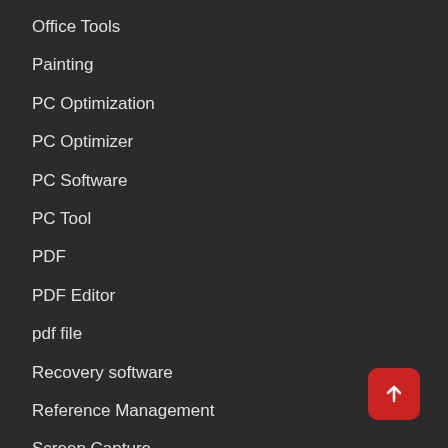Office Tools
Painting
PC Optimization
PC Optimizer
PC Software
PC Tool
PDF
PDF Editor
pdf file
Recovery software
Reference Management
Screen Capture
Screen Recorder